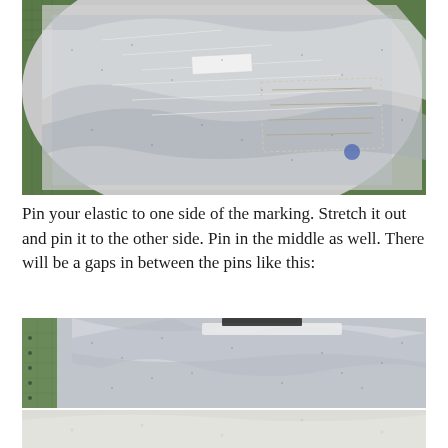[Figure (photo): Photo of grey/white patterned fabric laid out on a green cutting mat, with sewing pattern pieces pinned to it, showing fabric cutting preparation.]
Pin your elastic to one side of the marking. Stretch it out and pin it to the other side. Pin in the middle as well. There will be a gaps in between the pins like this:
[Figure (photo): Close-up photo of grey/white textured fabric on a green cutting mat, showing elastic pinned to fabric with visible gaps between pins.]
[Figure (photo): Bottom portion of a photo showing white/light fabric, partially visible.]